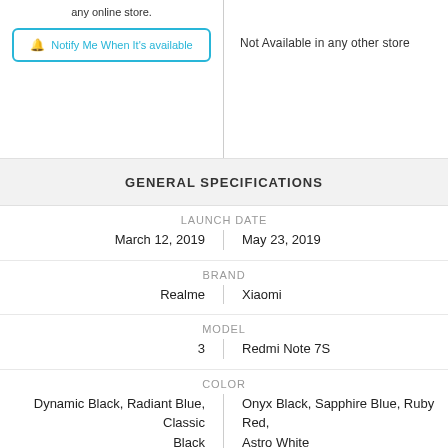any online store.
Notify Me When It's available
Not Available in any other store
GENERAL SPECIFICATIONS
|  | LAUNCH DATE |  |
| --- | --- | --- |
| March 12, 2019 |  | May 23, 2019 |
| Realme | BRAND | Xiaomi |
| 3 | MODEL | Redmi Note 7S |
| Dynamic Black, Radiant Blue, Classic Black | COLOR | Onyx Black, Sapphire Blue, Ruby Red, Astro White |